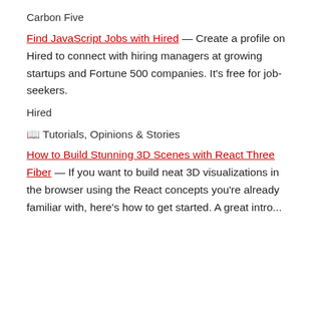Carbon Five
Find JavaScript Jobs with Hired — Create a profile on Hired to connect with hiring managers at growing startups and Fortune 500 companies. It's free for job-seekers.
Hired
📖 Tutorials, Opinions & Stories
How to Build Stunning 3D Scenes with React Three Fiber — If you want to build neat 3D visualizations in the browser using the React concepts you're already familiar with, here's how to get started. A great intro...